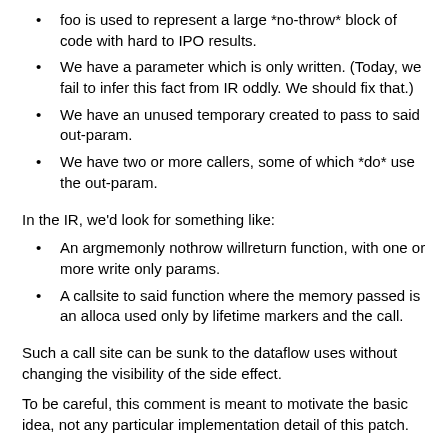foo is used to represent a large *no-throw* block of code with hard to IPO results.
We have a parameter which is only written. (Today, we fail to infer this fact from IR oddly. We should fix that.)
We have an unused temporary created to pass to said out-param.
We have two or more callers, some of which *do* use the out-param.
In the IR, we'd look for something like:
An argmemonly nothrow willreturn function, with one or more write only params.
A callsite to said function where the memory passed is an alloca used only by lifetime markers and the call.
Such a call site can be sunk to the dataflow uses without changing the visibility of the side effect.
To be careful, this comment is meant to motivate the basic idea, not any particular implementation detail of this patch.